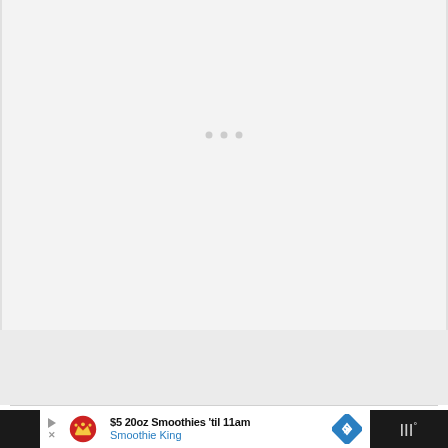[Figure (other): Large light gray loading/placeholder content area with three small gray dots in the center indicating a loading state]
[Figure (other): Gray advertisement placeholder bar below the main content area]
$5 20oz Smoothies 'til 11am
Smoothie King
[Figure (logo): Smoothie King logo with crown emblem in red circle, navigation arrow diamond icon, and W° icon on dark background]